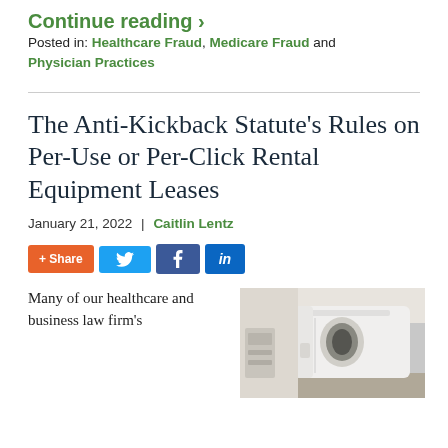Continue reading ›
Posted in: Healthcare Fraud, Medicare Fraud and Physician Practices
The Anti-Kickback Statute’s Rules on Per-Use or Per-Click Rental Equipment Leases
January 21, 2022 | Caitlin Lentz
[Figure (infographic): Social sharing buttons: +Share (orange), Twitter (blue), Facebook (dark blue), LinkedIn (blue)]
Many of our healthcare and business law firm’s
[Figure (photo): Photo of a white MRI or CT scanner machine in a medical facility]